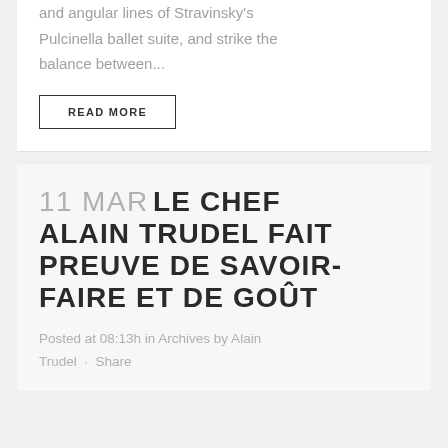and angular lines of Stravinsky's Pulcinella ballet suite, and strike the balance between...
READ MORE
11 MAR LE CHEF ALAIN TRUDEL FAIT PREUVE DE SAVOIR-FAIRE ET DE GOÛT
Posted at 08:13h in Archives by Alain Trudel · Share